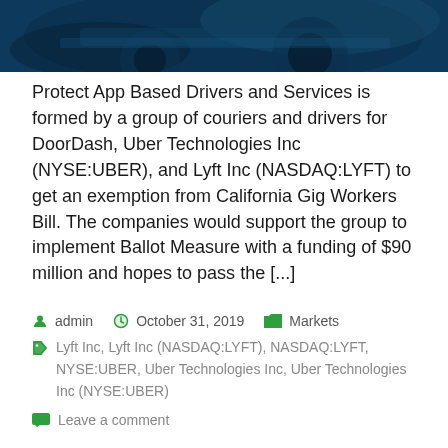[Figure (photo): Dark blue header image showing what appears to be a vehicle or automotive scene with dark teal/blue tones]
Protect App Based Drivers and Services is formed by a group of couriers and drivers for DoorDash, Uber Technologies Inc (NYSE:UBER), and Lyft Inc (NASDAQ:LYFT) to get an exemption from California Gig Workers Bill. The companies would support the group to implement Ballot Measure with a funding of $90 million and hopes to pass the [...]
admin   October 31, 2019   Markets
Lyft Inc, Lyft Inc (NASDAQ:LYFT), NASDAQ:LYFT, NYSE:UBER, Uber Technologies Inc, Uber Technologies Inc (NYSE:UBER)
Leave a comment